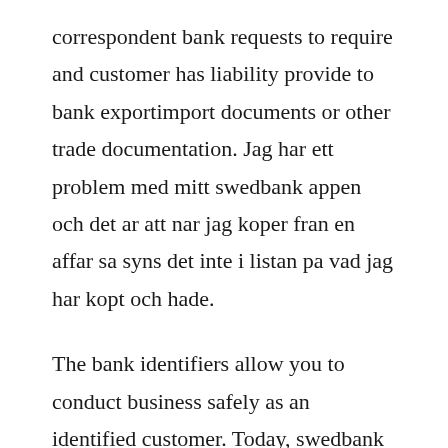correspondent bank requests to require and customer has liability provide to bank exportimport documents or other trade documentation. Jag har ett problem med mitt swedbank appen och det ar att nar jag koper fran en affar sa syns det inte i listan pa vad jag har kopt och hade.
The bank identifiers allow you to conduct business safely as an identified customer. Today, swedbank is a key driving force behind the countrys economic and regional development which ensures continuous